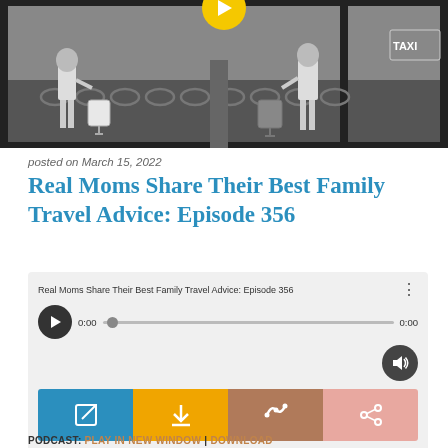[Figure (photo): Black and white photo of two girls with luggage at what appears to be an airport or taxi area, with a yellow circular play button overlay at the top center.]
posted on March 15, 2022
Real Moms Share Their Best Family Travel Advice: Episode 356
[Figure (screenshot): Audio player widget showing episode title 'Real Moms Share Their Best Family Travel Advice: Episode 356', play button, progress bar at 0:00, volume control, and four colored action buttons (teal, yellow, brown, pink) with icons for open in new window, download, subscribe/RSS, and share.]
PODCAST: PLAY IN NEW WINDOW | DOWNLOAD